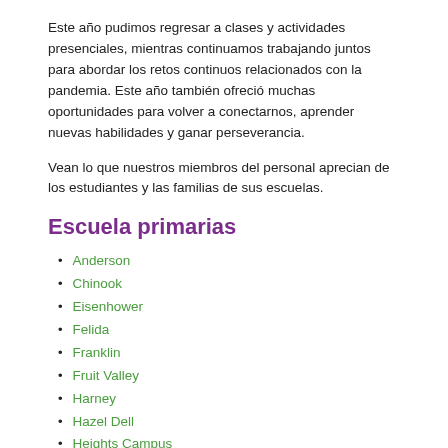Este año pudimos regresar a clases y actividades presenciales, mientras continuamos trabajando juntos para abordar los retos continuos relacionados con la pandemia. Este año también ofreció muchas oportunidades para volver a conectarnos, aprender nuevas habilidades y ganar perseverancia.
Vean lo que nuestros miembros del personal aprecian de los estudiantes y las familias de sus escuelas.
Escuela primarias
Anderson
Chinook
Eisenhower
Felida
Franklin
Fruit Valley
Harney
Hazel Dell
Heights Campus
Hough